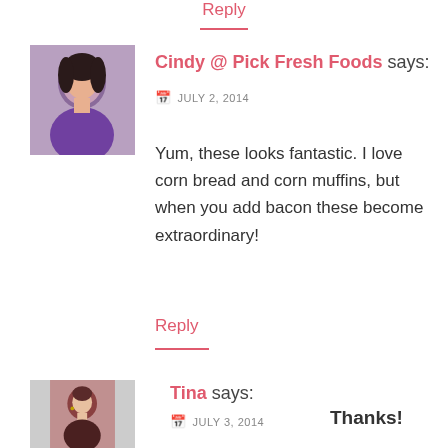Reply
[Figure (photo): Avatar photo of Cindy, a woman with dark hair, wearing a purple top]
Cindy @ Pick Fresh Foods says:
JULY 2, 2014
Yum, these looks fantastic. I love corn bread and corn muffins, but when you add bacon these become extraordinary!
Reply
[Figure (photo): Avatar photo of Tina, a woman smiling, wearing a dark top with earrings]
Tina says:
JULY 3, 2014
Thanks!
Reply